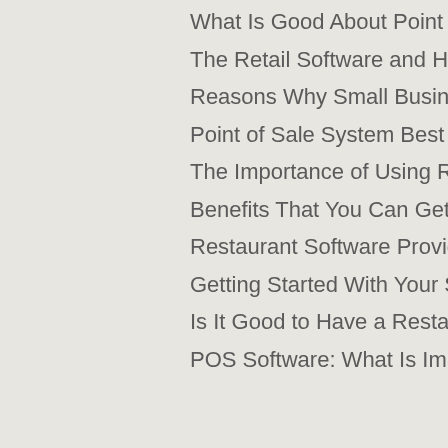What Is Good About Point of Sale System?
The Retail Software and How It Improved
Reasons Why Small Business Should Install a Pos System
Point of Sale System Best for Your Company
The Importance of Using Retail Software in Your Store
Benefits That You Can Get When You Have a Point of Sale System
Restaurant Software Provides Fast and Efficient Restaurant Service
Getting Started With Your System
Is It Good to Have a Restaurant Software System?
POS Software: What Is Important for the Client